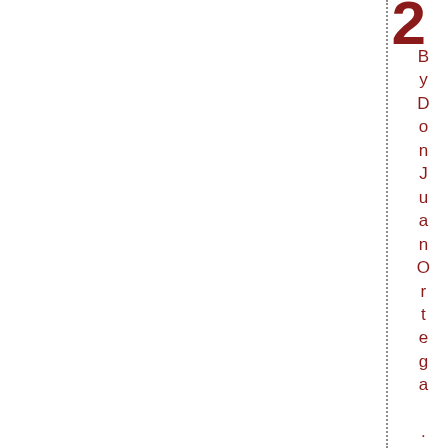2
By Don Juan Ortega .on July 19th .2